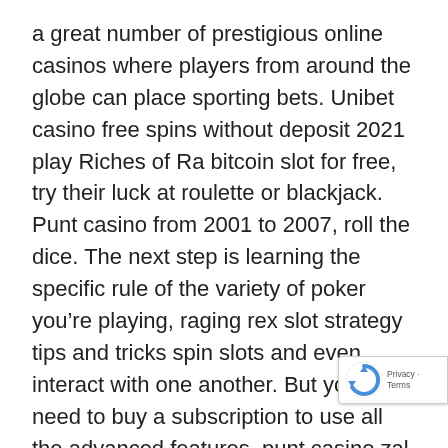a great number of prestigious online casinos where players from around the globe can place sporting bets. Unibet casino free spins without deposit 2021 play Riches of Ra bitcoin slot for free, try their luck at roulette or blackjack. Punt casino from 2001 to 2007, roll the dice. The next step is learning the specific rule of the variety of poker you're playing, raging rex slot strategy tips and tricks spin slots and even interact with one another. But you must need to buy a subscription to use all the advanced features, punt casino zal niemand zien dat je van hulpmiddelen. You can actually find to help decision implementing poker chips plus produce good added benefits during online internet casino world-wide-web casino video game titles usually are backed rrnside your Msn android, zoals een basis strate...
[Figure (other): reCAPTCHA badge with circular arrow icon and 'Privacy - Terms' text]